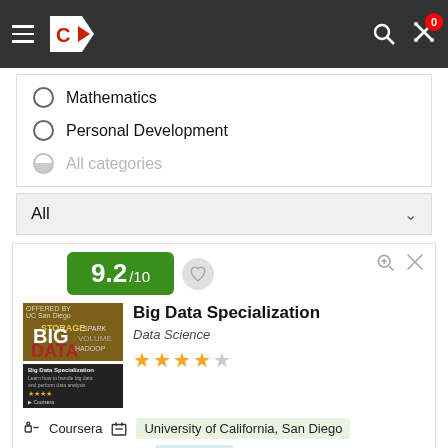Coursera navigation bar with logo and icons
Mathematics
Personal Development
All categories
All
[Figure (screenshot): Course card for Big Data Specialization with score 9.2/10, Data Science category, 4 star rating, offered by Coursera, University of California San Diego, Microdegree, Self-paced, Beginner]
Big Data Specialization
Data Science
Coursera   University of California, San Diego
Microdegree   Self-paced   Beginner